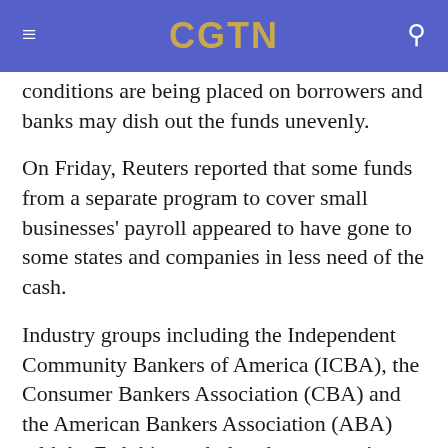CGTN
conditions are being placed on borrowers and banks may dish out the funds unevenly.
On Friday, Reuters reported that some funds from a separate program to cover small businesses' payroll appeared to have gone to some states and companies in less need of the cash.
Industry groups including the Independent Community Bankers of America (ICBA), the Consumer Bankers Association (CBA) and the American Bankers Association (ABA) told the Fed this week that the program's minimum loan size of one million U.S. dollars is too large and will exclude many small businesses that need the money more.